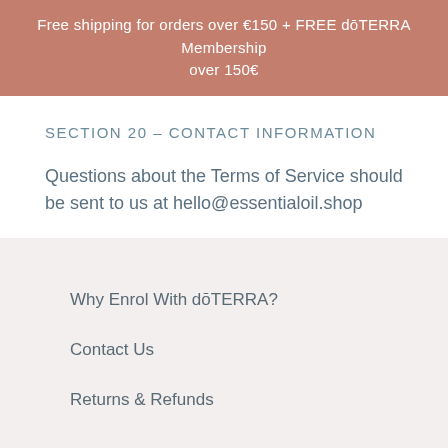Free shipping for orders over €150 + FREE dōTERRA Membership over 150€
SECTION 20 – CONTACT INFORMATION
Questions about the Terms of Service should be sent to us at hello@essentialoil.shop
Why Enrol With dōTERRA?
Contact Us
Returns & Refunds